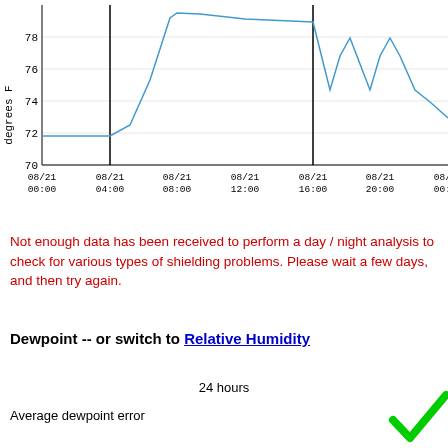[Figure (continuous-plot): Line chart showing temperature in degrees F over time from 08/21 00:00 to 08/22 00:00. Y-axis ranges from 70 to ~80 degrees F with gridlines at 70, 72, 74, 76, 78. X-axis shows time labels: 08/21 00:00, 08/21 04:00, 08/21 08:00, 08/21 12:00, 08/21 16:00, 08/21 20:00, 08/22 00:00. Two vertical black lines at ~04:00 and ~16:00. The blue line starts at ~71.8, stays flat to 04:00 line, rises steeply to ~79.5 by ~08:00, stays high until ~16:00 line, then shows oscillating descent with spikes around 75-77, ending at ~73.2.]
Not enough data has been received to perform a day / night analysis to check for various types of shielding problems. Please wait a few days, and then try again.
Dewpoint -- or switch to Relative Humidity
24 hours
Average dewpoint error